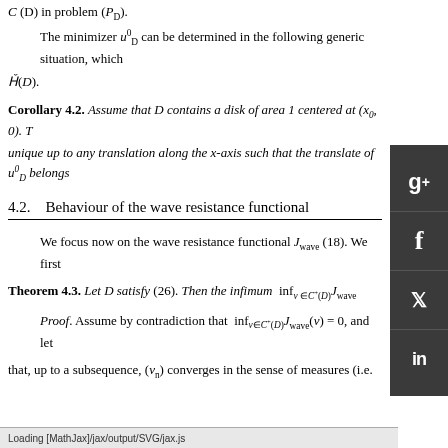C (D) in problem (P_D).
The minimizer u^0_D can be determined in the following generic situation, which involves Ȟ(D).
Corollary 4.2. Assume that D contains a disk of area 1 centered at (x_0, 0). T unique up to any translation along the x-axis such that the translate of u^0_D belongs
4.2.   Behaviour of the wave resistance functional
We focus now on the wave resistance functional J_wave (18). We first
Theorem 4.3. Let D satisfy (26). Then the infimum  inf_{v∈C⁺(D)} J_wave
Proof. Assume by contradiction that  inf_{v∈C⁺(D)} J_wave(v) = 0, and let
that, up to a subsequence, (v_n) converges in the sense of measures (i.e.
By Fatou's lemma,
(1, ∞). By analyticity (since D is bounded), T
Loading [MathJax]/jax/output/SVG/jax.js